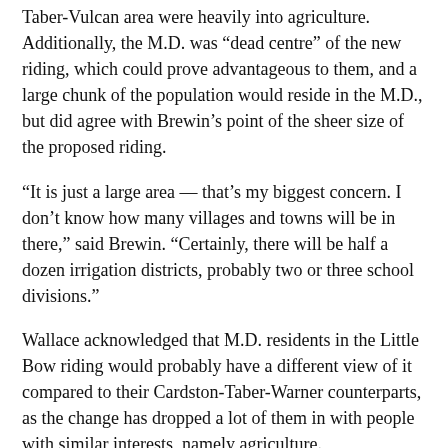Taber-Vulcan area were heavily into agriculture. Additionally, the M.D. was “dead centre” of the new riding, which could prove advantageous to them, and a large chunk of the population would reside in the M.D., but did agree with Brewin’s point of the sheer size of the proposed riding.
“It is just a large area — that’s my biggest concern. I don’t know how many villages and towns will be in there,” said Brewin. “Certainly, there will be half a dozen irrigation districts, probably two or three school divisions.”
Wallace acknowledged that M.D. residents in the Little Bow riding would probably have a different view of it compared to their Cardston-Taber-Warner counterparts, as the change has dropped a lot of them in with people with similar interests, namely agriculture.
“The only thing is when does somebody pull the trigger and say population doesn’t trump everything?” said Dwight Tolton, M.D. councillor, whose division also resides within the Little Bow riding. “What I understand, quite a few ridings in Calgary are 20 minutes across by car. I think sometimes, there should be some